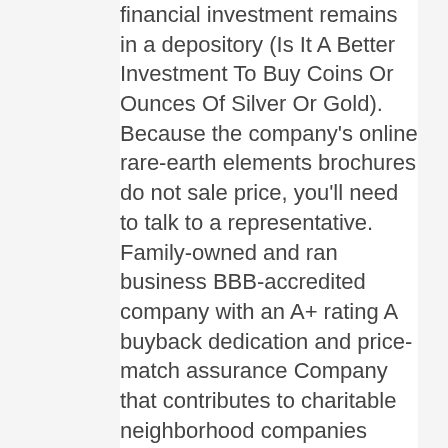financial investment remains in a depository (Is It A Better Investment To Buy Coins Or Ounces Of Silver Or Gold). Because the company's online rare-earth elements brochures do not sale price, you'll need to talk to a representative. Family-owned and ran business BBB-accredited company with an A+ rating A buyback dedication and price-match assurance Company that contributes to charitable neighborhood companies Does not disclose specific cost structure or rare-earth element prices Charges yearly maintenance charges Provides no global shipping So, what's the final verdict in this